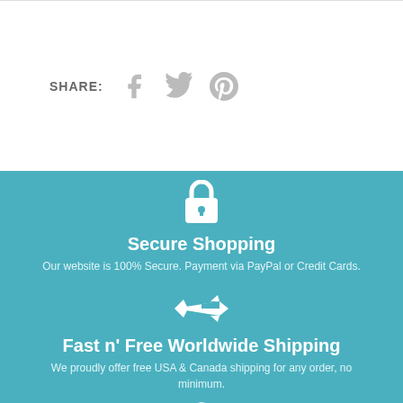SHARE:
[Figure (illustration): Social media share icons: Facebook, Twitter, Pinterest in light gray]
[Figure (illustration): White padlock icon on teal background]
Secure Shopping
Our website is 100% Secure. Payment via PayPal or Credit Cards.
[Figure (illustration): White fighter jet / airplane icon on teal background]
Fast n' Free Worldwide Shipping
We proudly offer free USA & Canada shipping for any order, no minimum.
[Figure (illustration): White globe/world icon partially visible at bottom of teal section]